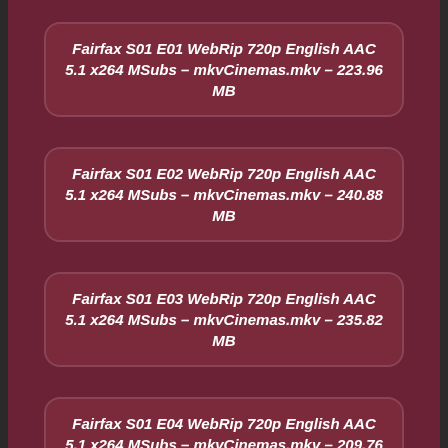Fairfax S01 E01 WebRip 720p English AAC 5.1 x264 MSubs – mkvCinemas.mkv – 223.96 MB
Fairfax S01 E02 WebRip 720p English AAC 5.1 x264 MSubs – mkvCinemas.mkv – 240.88 MB
Fairfax S01 E03 WebRip 720p English AAC 5.1 x264 MSubs – mkvCinemas.mkv – 235.82 MB
Fairfax S01 E04 WebRip 720p English AAC 5.1 x264 MSubs – mkvCinemas.mkv – 209.76 MB
Fairfax S01 E05 WebRip 720p English AAC 5.1 x264 MSubs – mkvCinemas.mkv – 246.55 MB